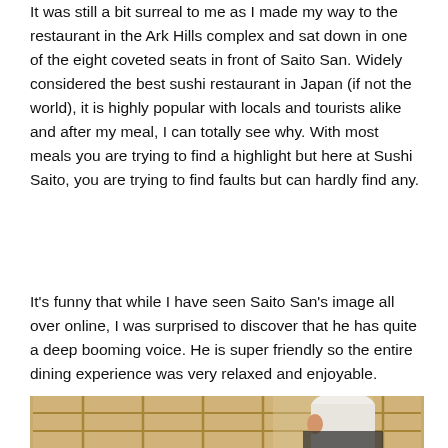It was still a bit surreal to me as I made my way to the restaurant in the Ark Hills complex and sat down in one of the eight coveted seats in front of Saito San. Widely considered the best sushi restaurant in Japan (if not the world), it is highly popular with locals and tourists alike and after my meal, I can totally see why. With most meals you are trying to find a highlight but here at Sushi Saito, you are trying to find faults but can hardly find any.
It's funny that while I have seen Saito San's image all over online, I was surprised to discover that he has quite a deep booming voice. He is super friendly so the entire dining experience was very relaxed and enjoyable.
[Figure (photo): A sushi chef in a white hat and apron standing in front of a traditional Japanese shoji screen background in warm golden tones.]